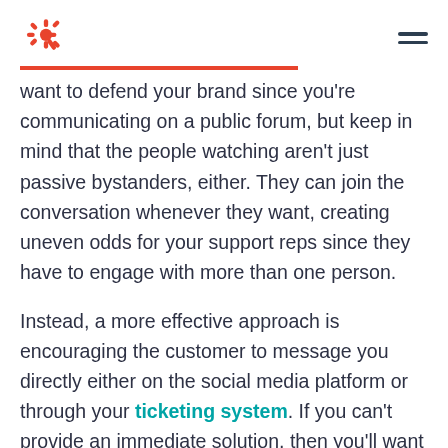HubSpot logo and navigation menu
want to defend your brand since you’re communicating on a public forum, but keep in mind that the people watching aren’t just passive bystanders, either. They can join the conversation whenever they want, creating uneven odds for your support reps since they have to engage with more than one person.
Instead, a more effective approach is encouraging the customer to message you directly either on the social media platform or through your ticketing system. If you can’t provide an immediate solution, then you’ll want to shift the conversation to a communication medium that’s ideal for troubleshooting. Some social media platforms, like